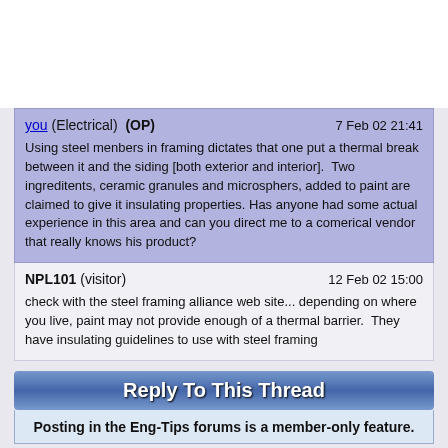you (Electrical)  (OP)   7 Feb 02 21:41
Using steel menbers in framing dictates that one put a thermal break between it and the siding [both exterior and interior].  Two ingreditents, ceramic granules and microsphers, added to paint are claimed to give it insulating properties. Has anyone had some actual experience in this area and can you direct me to a comerical vendor that really knows his product?
NPL101 (visitor)   12 Feb 02 15:00
check with the steel framing alliance web site... depending on where you live, paint may not provide enough of a thermal barrier.  They have insulating guidelines to use with steel framing
Reply To This Thread
Posting in the Eng-Tips forums is a member-only feature.